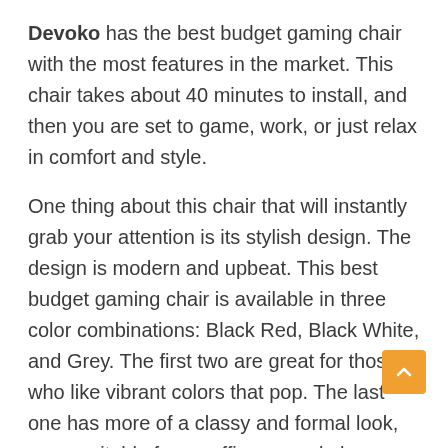Devoko has the best budget gaming chair with the most features in the market. This chair takes about 40 minutes to install, and then you are set to game, work, or just relax in comfort and style.
One thing about this chair that will instantly grab your attention is its stylish design. The design is modern and upbeat. This best budget gaming chair is available in three color combinations: Black Red, Black White, and Grey. The first two are great for those who like vibrant colors that pop. The last one has more of a classy and formal look, more suitable for an office or workplace setting.
The 360-degree swivel rotation makes this chair